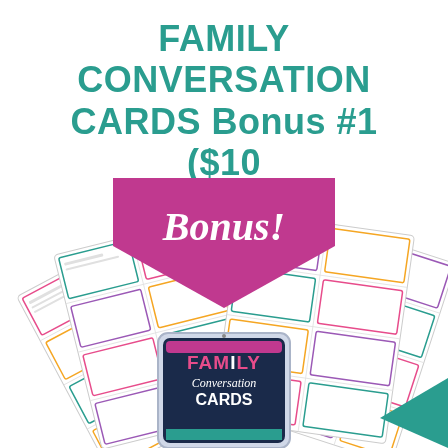FAMILY CONVERSATION CARDS Bonus #1 ($10 Value)
[Figure (illustration): A magenta/pink pentagon-shaped banner pointing downward with 'Bonus!' written in white cursive script, above a fan of printed Family Conversation Cards sheets and a tablet device showing the Family Conversation Cards product cover]